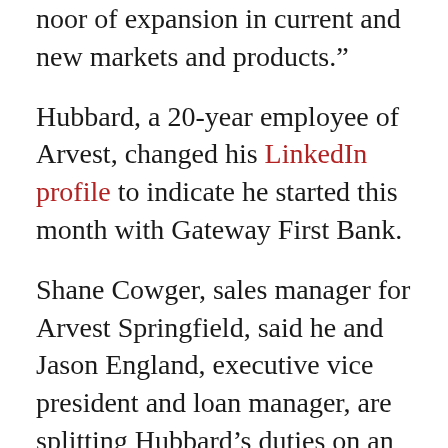noor of expansion in current and new markets and products."
Hubbard, a 20-year employee of Arvest, changed his LinkedIn profile to indicate he started this month with Gateway First Bank.
Shane Cowger, sales manager for Arvest Springfield, said he and Jason England, executive vice president and loan manager, are splitting Hubbard's duties on an interim basis. Hubbard exited Arvest on April 18, Cowger said, noting an interview process is underway for his successor and could conclude by the end of May.
Prior to joining the company's Springfield market, Hubbard served as president and CEO of Arvest's operation in Bartlesville,